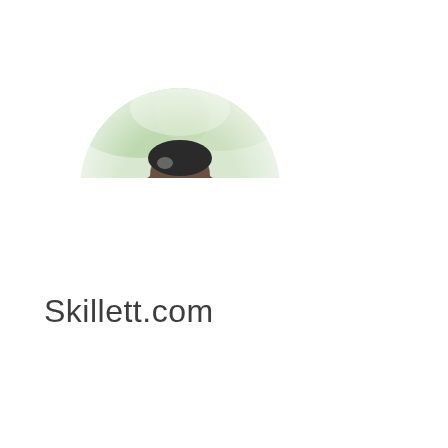[Figure (photo): Partial circular cropped photo showing top half of a person outdoors, with blurred green foliage background visible at top]
Skillett.com